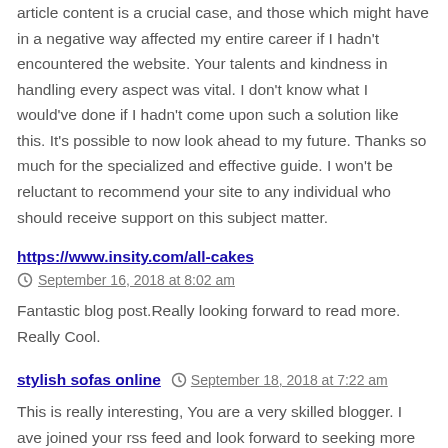article content is a crucial case, and those which might have in a negative way affected my entire career if I hadn't encountered the website. Your talents and kindness in handling every aspect was vital. I don't know what I would've done if I hadn't come upon such a solution like this. It's possible to now look ahead to my future. Thanks so much for the specialized and effective guide. I won't be reluctant to recommend your site to any individual who should receive support on this subject matter.
https://www.insity.com/all-cakes
September 16, 2018 at 8:02 am
Fantastic blog post.Really looking forward to read more. Really Cool.
stylish sofas online
September 18, 2018 at 7:22 am
This is really interesting, You are a very skilled blogger. I ave joined your rss feed and look forward to seeking more of